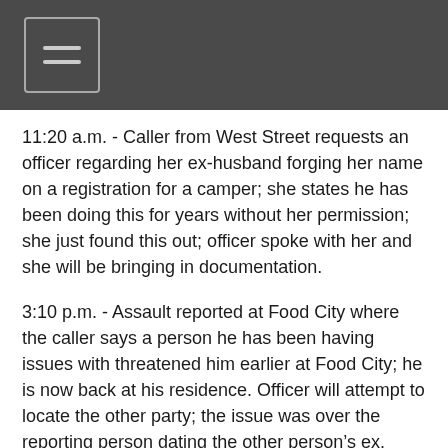11:20 a.m. - Caller from West Street requests an officer regarding her ex-husband forging her name on a registration for a camper; she states he has been doing this for years without her permission; she just found this out; officer spoke with her and she will be bringing in documentation.
3:10 p.m. - Assault reported at Food City where the caller says a person he has been having issues with threatened him earlier at Food City; he is now back at his residence. Officer will attempt to locate the other party; the issue was over the reporting person dating the other person’s ex.
3:41 p.m. - Officers at Powertown Apartments on Fourth Street to assist state with removal of a child from a residence there; officers cleared after Department of